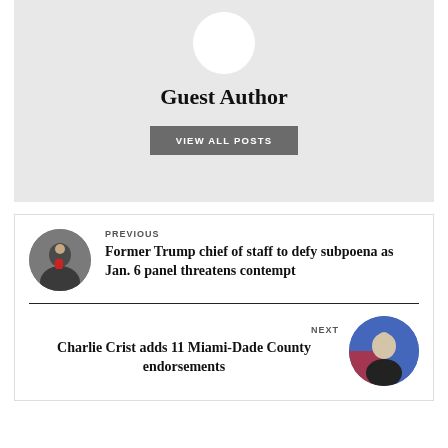[Figure (illustration): Gray card with white circular avatar placeholder at top]
Guest Author
VIEW ALL POSTS
PREVIOUS
[Figure (photo): Circular photo of a man in a suit on phone outdoors]
Former Trump chief of staff to defy subpoena as Jan. 6 panel threatens contempt
NEXT
Charlie Crist adds 11 Miami-Dade County endorsements
[Figure (photo): Circular photo of a man in front of blue and red background]